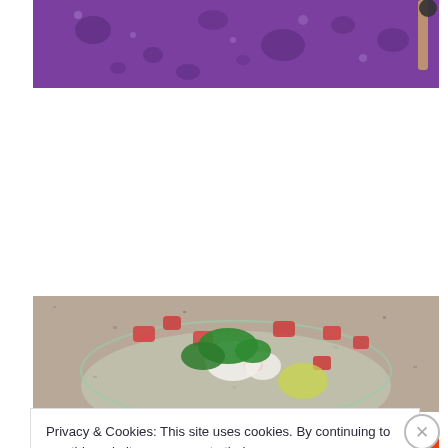[Figure (photo): Top portion of a purple surface with water droplets and a wooden spoon/utensil visible at the right edge]
[Figure (photo): Glass bowl on a granite countertop containing chopped tomatoes, green herbs (cilantro/parsley), and white ingredients (possibly cheese or onion) — ingredients for a salsa or salad]
Privacy & Cookies: This site uses cookies. By continuing to use this website, you agree to their use.
To find out more, including how to control cookies, see here: Cookie Policy
Close and accept